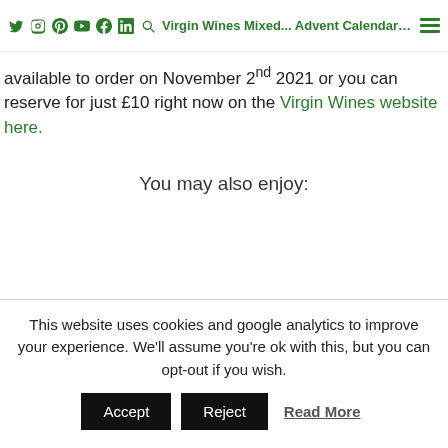Virgin Wines Mixed... Advent Calendar 2021 w...
available to order on November 2nd 2021 or you can reserve for just £10 right now on the Virgin Wines website here.
You may also enjoy:
This website uses cookies and google analytics to improve your experience. We'll assume you're ok with this, but you can opt-out if you wish.